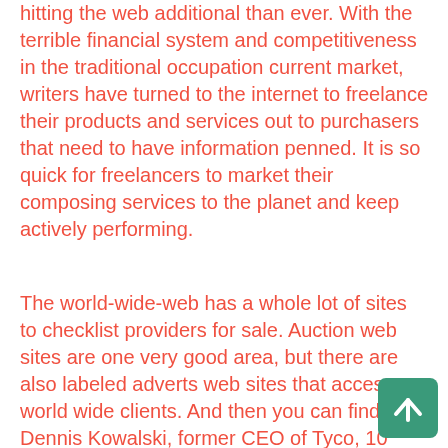hitting the web additional than ever. With the terrible financial system and competitiveness in the traditional occupation current market, writers have turned to the internet to freelance their products and services out to purchasers that need to have information penned. It is so quick for freelancers to market their composing services to the planet and keep actively performing.
The world-wide-web has a whole lot of sites to checklist providers for sale. Auction web sites are one very good area, but there are also labeled adverts web sites that access world wide clients. And then you can find Dennis Kowalski, former CEO of Tyco, 10 many years back. Here’s a male creating 10s of hundreds thousands, if not 100s of hundreds of thousands
[Figure (other): Green scroll-to-top button with upward arrow icon, positioned at bottom right]